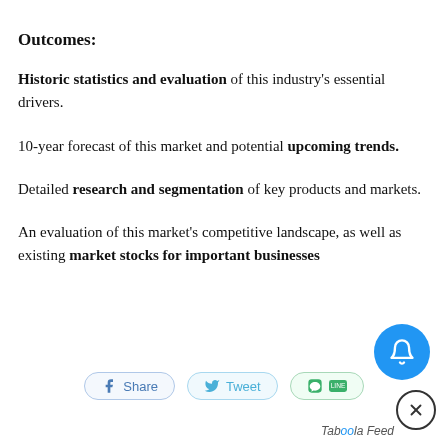Outcomes:
Historic statistics and evaluation of this industry's essential drivers.
10-year forecast of this market and potential upcoming trends.
Detailed research and segmentation of key products and markets.
An evaluation of this market's competitive landscape, as well as existing market stocks for important businesses
Share  Tweet  [LINE icon]  Taboola Feed